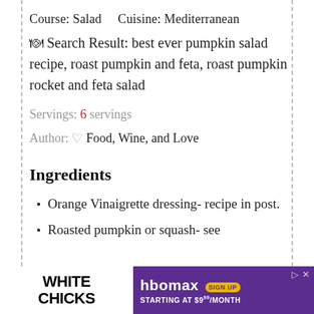Course: Salad    Cuisine: Mediterranean
🍽 Search Result: best ever pumpkin salad recipe, roast pumpkin and feta, roast pumpkin rocket and feta salad
Servings: 6 servings
Author: ♡ Food, Wine, and Love
Ingredients
Orange Vinaigrette dressing- recipe in post.
Roasted pumpkin or squash- see
[Figure (screenshot): Advertisement banner: White Chicks movie on the left, HBO Max sign up promotion on the right with purple background showing 'SIGN UP STARTING AT $9⁹⁹/MONTH']